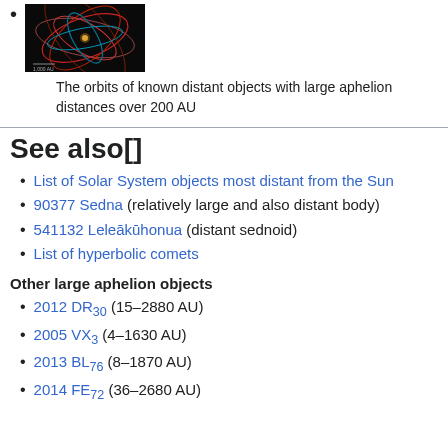[Figure (photo): Orbital diagram showing orbits of known distant solar system objects with large aphelion distances over 200 AU, displayed against a black background with colored trajectory lines]
The orbits of known distant objects with large aphelion distances over 200 AU
See also[]
List of Solar System objects most distant from the Sun
90377 Sedna (relatively large and also distant body)
541132 Leleākūhonua (distant sednoid)
List of hyperbolic comets
Other large aphelion objects
2012 DR30 (15–2880 AU)
2005 VX3 (4–1630 AU)
2013 BL76 (8–1870 AU)
2014 FE72 (36–2680 AU)